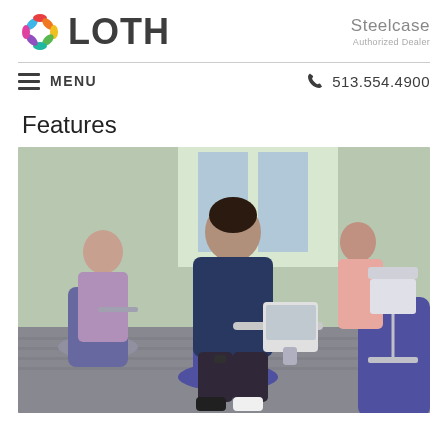LOTH | Steelcase Authorized Dealer
MENU | 513.554.4900
Features
[Figure (photo): People working in a modern office environment seated on purple/grey rolling chairs with tablet arm desks. A man in a navy blue shirt is looking down at a laptop on an attached desk surface, a woman in the background left works at a similar station, and another woman in pink stands at a rolling white cart/workstation in the background right.]